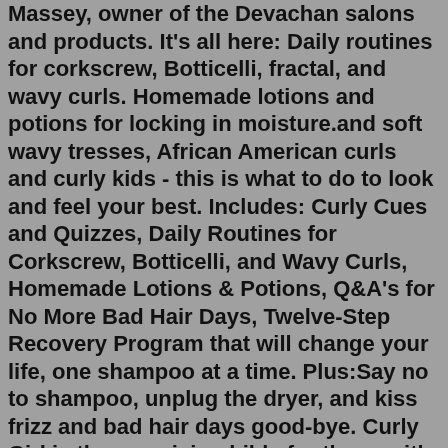Massey, owner of the Devachan salons and products. It's all here: Daily routines for corkscrew, Botticelli, fractal, and wavy curls. Homemade lotions and potions for locking in moisture.and soft wavy tresses, African American curls and curly kids - this is what to do to look and feel your best. Includes: Curly Cues and Quizzes, Daily Routines for Corkscrew, Botticelli, and Wavy Curls, Homemade Lotions & Potions, Q&A's for No More Bad Hair Days, Twelve-Step Recovery Program that will change your life, one shampoo at a time. Plus:Say no to shampoo, unplug the dryer, and kiss frizz and bad hair days good-bye. Curly Girl is the surprising bible for those with naturally curly or wavy hair and a desire to celebrate it, from Lorraine Massey, owner of the Devachan salons and products. It's all here: Daily routines for corkscrew, Botticelli, fractal, and wavy curls.Entre ondulés et bouclés, les boucles à la botticelli prennent souvent différentes formes. Certaines mèches sont plus bouclées que d'autres, il faut alors composer avec différentes textures et bien choisir ses soins ! Si vous